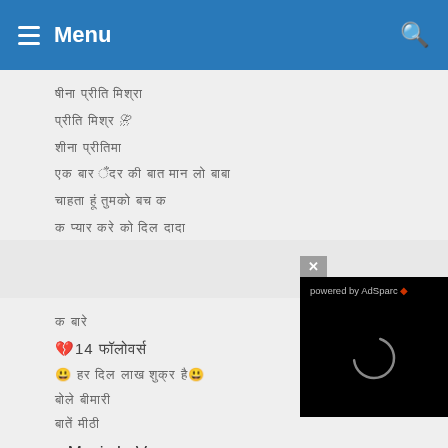Menu (navigation bar with hamburger icon and search icon)
Redacted Hindi/regional text lines (top card)
[Figure (screenshot): AdSparc advertisement overlay with close button, black background, loading spinner circle, and 'powered by AdSparc' text]
Redacted Hindi/regional text lines (bottom card) including: 💔14 followers, smiley face lines, Music Lover, quoted lines, 🌍LoVe TraVeLinG